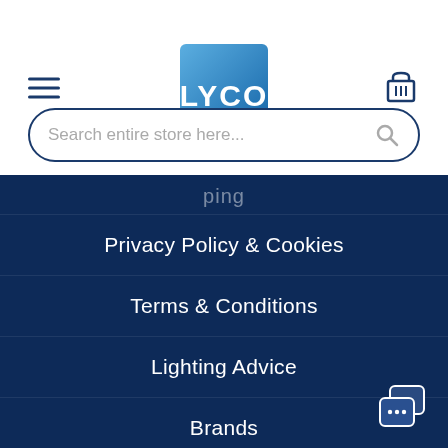[Figure (logo): Lyco brand logo - blue square with LYCO text in white]
Search entire store here...
Privacy Policy & Cookies
Terms & Conditions
Lighting Advice
Brands
About Lyco
About Us